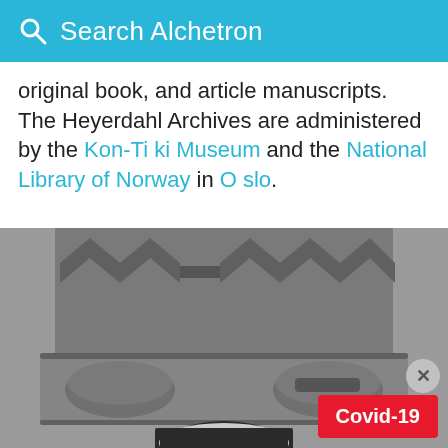Search Alchetron
original book, and article manuscripts. The Heyerdahl Archives are administered by the Kon-Tiki Museum and the National Library of Norway in Oslo.
[Figure (photo): Black and white close-up photograph of a stone statue or sculpture with zigzag carved pattern along the top, cylindrical side elements, and a person's head visible at the bottom of the frame.]
Covid-19